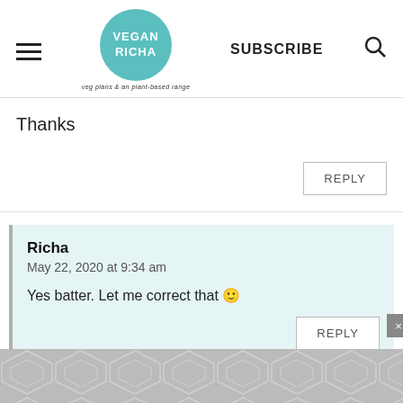[Figure (logo): Vegan Richa logo - teal circle with VEGAN RICHA text and tagline]
Thanks
REPLY
Richa
May 22, 2020 at 9:34 am

Yes batter. Let me correct that 🙂
REPLY